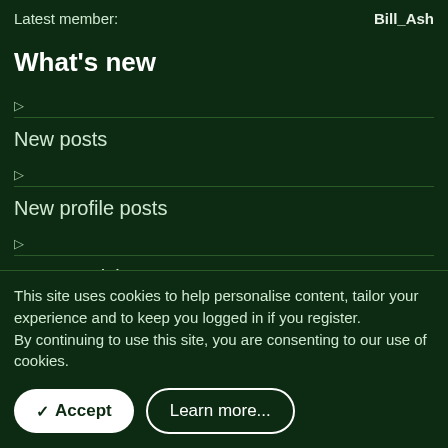Latest member:  Bill_Ash
What's new
▷
New posts
▷
New profile posts
▷
Latest activity
This site uses cookies to help personalise content, tailor your experience and to keep you logged in if you register.
By continuing to use this site, you are consenting to our use of cookies.
✓ Accept  Learn more...